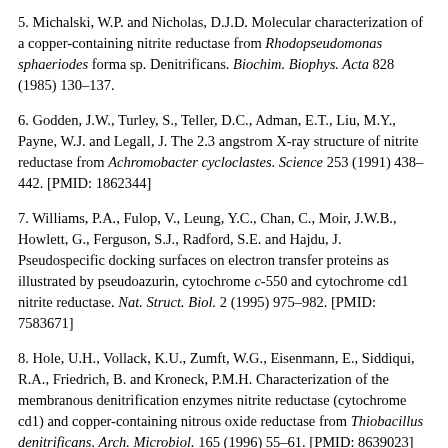5. Michalski, W.P. and Nicholas, D.J.D. Molecular characterization of a copper-containing nitrite reductase from Rhodopseudomonas sphaeriodes forma sp. Denitrificans. Biochim. Biophys. Acta 828 (1985) 130–137.
6. Godden, J.W., Turley, S., Teller, D.C., Adman, E.T., Liu, M.Y., Payne, W.J. and Legall, J. The 2.3 angstrom X-ray structure of nitrite reductase from Achromobacter cycloclastes. Science 253 (1991) 438–442. [PMID: 1862344]
7. Williams, P.A., Fulop, V., Leung, Y.C., Chan, C., Moir, J.W.B., Howlett, G., Ferguson, S.J., Radford, S.E. and Hajdu, J. Pseudospecific docking surfaces on electron transfer proteins as illustrated by pseudoazurin, cytochrome c-550 and cytochrome cd1 nitrite reductase. Nat. Struct. Biol. 2 (1995) 975–982. [PMID: 7583671]
8. Hole, U.H., Vollack, K.U., Zumft, W.G., Eisenmann, E., Siddiqui, R.A., Friedrich, B. and Kroneck, P.M.H. Characterization of the membranous denitrification enzymes nitrite reductase (cytochrome cd1) and copper-containing nitrous oxide reductase from Thiobacillus denitrificans. Arch. Microbiol. 165 (1996) 55–61. [PMID: 8639023]
9. Zumft, W.G. Cell biology and molecular basis of denitrification.